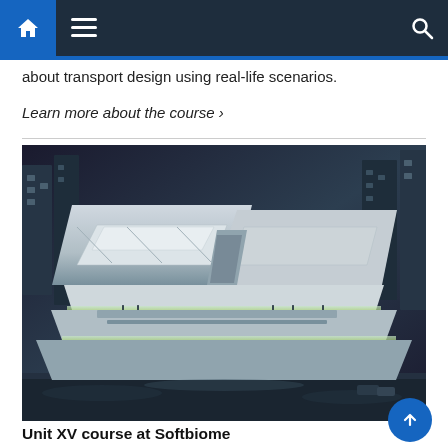Navigation bar with home, menu, and search icons
about transport design using real-life scenarios.
Learn more about the course ›
[Figure (photo): Aerial view of a futuristic white multi-tiered building complex with sweeping curved forms, illuminated interiors, surrounded by dark urban cityscape at night]
Unit XV course at Softbiome